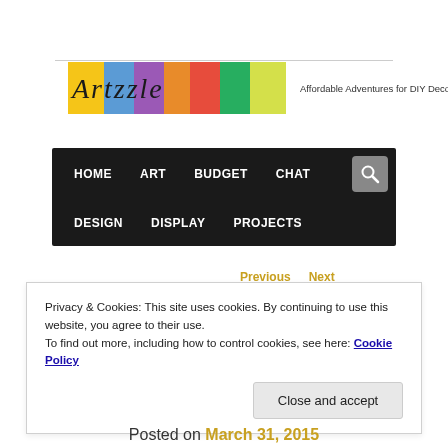[Figure (logo): Artzzle logo with colored letter blocks (yellow, blue, purple, orange, red, green, yellow) and italic script text 'Artzzle', followed by tagline 'Affordable Adventures for DIY Decorators']
[Figure (screenshot): Navigation bar with black background containing menu items: HOME, ART, BUDGET, CHAT, DESIGN, DISPLAY, PROJECTS, and a search button]
Previous   Next
Privacy & Cookies: This site uses cookies. By continuing to use this website, you agree to their use.
To find out more, including how to control cookies, see here: Cookie Policy
Close and accept
Posted on March 31, 2015